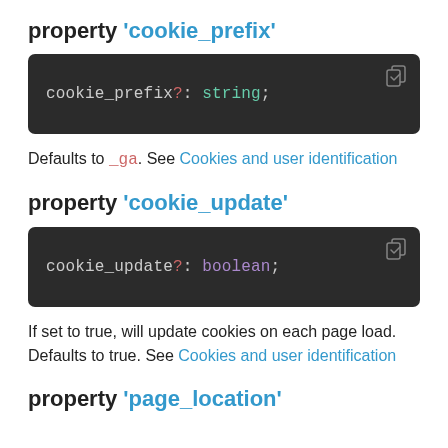property 'cookie_prefix'
[Figure (screenshot): Code block showing: cookie_prefix?: string;]
Defaults to _ga. See Cookies and user identification
property 'cookie_update'
[Figure (screenshot): Code block showing: cookie_update?: boolean;]
If set to true, will update cookies on each page load. Defaults to true. See Cookies and user identification
property 'page_location'